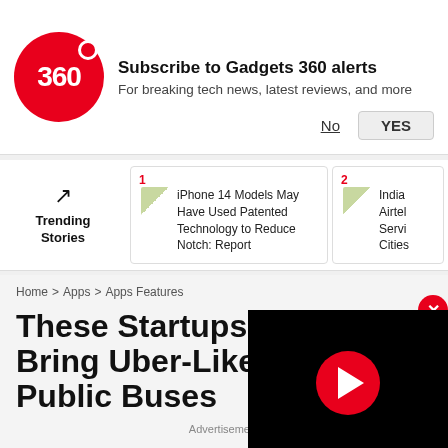Subscribe to Gadgets 360 alerts — For breaking tech news, latest reviews, and more
Trending Stories
1 iPhone 14 Models May Have Used Patented Technology to Reduce Notch: Report
2 India Airtel Servi... Cities
Home > Apps > Apps Features
These Startups are H... Bring Uber-Like Ease... Public Buses
Advertisement
[Figure (screenshot): Black video player overlay with red play button circle and white play triangle icon]